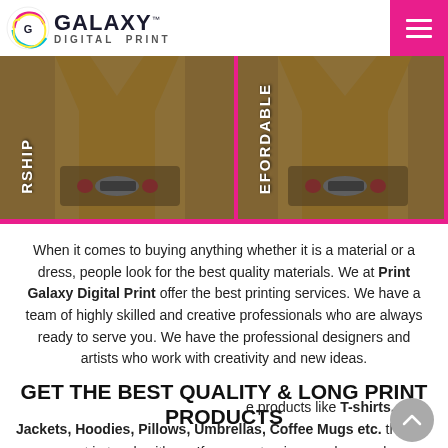[Figure (screenshot): Galaxy Digital Print website screenshot showing logo with colorful swirl, navigation hamburger button in pink, two product photos with rotated text overlays reading 'RSHIP' and 'EFORDABLE', body text about print quality services, a 'GET THE BEST QUALITY & LONG PRINT PRODUCTS' heading, a pink Send Enquiry button, and partial text about T-shirts, Jackets, Hoodies, Pillows, Umbrellas, Coffee Mugs etc.]